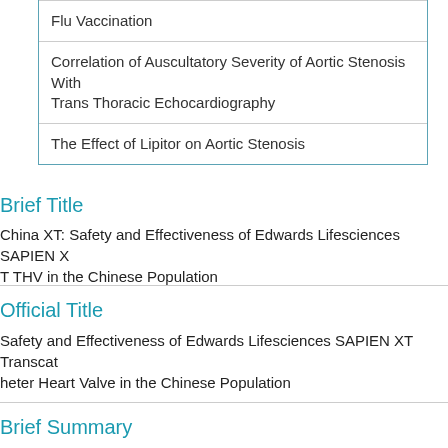| Flu Vaccination |
| Correlation of Auscultatory Severity of Aortic Stenosis With Trans Thoracic Echocardiography |
| The Effect of Lipitor on Aortic Stenosis |
Brief Title
China XT: Safety and Effectiveness of Edwards Lifesciences SAPIEN XT THV in the Chinese Population
Official Title
Safety and Effectiveness of Edwards Lifesciences SAPIEN XT Transcatheter Heart Valve in the Chinese Population
Brief Summary